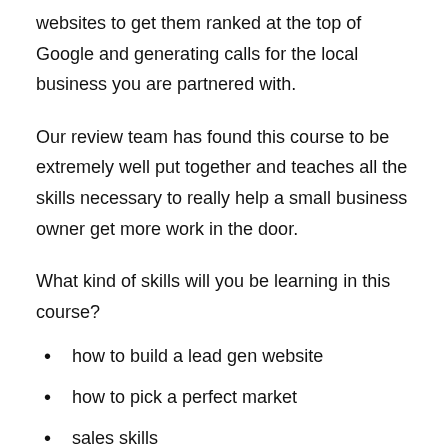websites to get them ranked at the top of Google and generating calls for the local business you are partnered with.
Our review team has found this course to be extremely well put together and teaches all the skills necessary to really help a small business owner get more work in the door.
What kind of skills will you be learning in this course?
how to build a lead gen website
how to pick a perfect market
sales skills
SEO